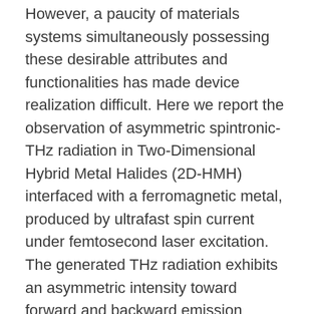However, a paucity of materials systems simultaneously possessing these desirable attributes and functionalities has made device realization difficult. Here we report the observation of asymmetric spintronic-THz radiation in Two-Dimensional Hybrid Metal Halides (2D-HMH) interfaced with a ferromagnetic metal, produced by ultrafast spin current under femtosecond laser excitation. The generated THz radiation exhibits an asymmetric intensity toward forward and backward emission direction whose directionality can be mutually controlled by the direction of applied magnetic field and linear polarization of the laser pulse. Our work demonstrates the capability for the coherent control of THz emission from 2D-HMHs, enabling their promising applications on the ultrafast